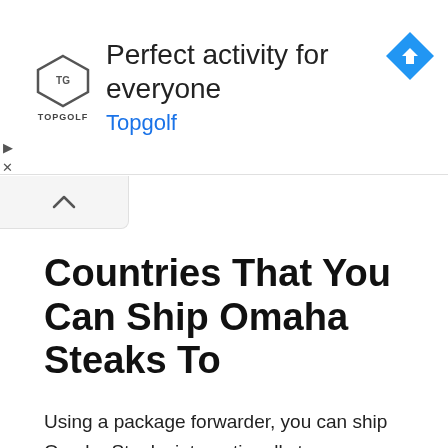[Figure (screenshot): Topgolf advertisement banner with logo, headline 'Perfect activity for everyone', link 'Topgolf', and a blue navigation arrow icon on the right]
[Figure (other): Collapse/chevron up button below the ad banner]
Countries That You Can Ship Omaha Steaks To
Using a package forwarder, you can ship Omaha Steaks internationally to any country or region in the world including Australia, Austria, Belgium, Canada, Czech Republic, Denmark, Finland, France, Germany, Greece, Hong Kong, India, Indonesia, Italy, Japan, South Korea, Kuwait, Malaysia, Netherlands, Norway, Russia, Saudi Arabia, Singapore, South Africa, Spain, Sweden, Switzerland, Taiwan, Thailand, United Arab Emirates, United Kingdom, Africa, Asia, Caribbean...